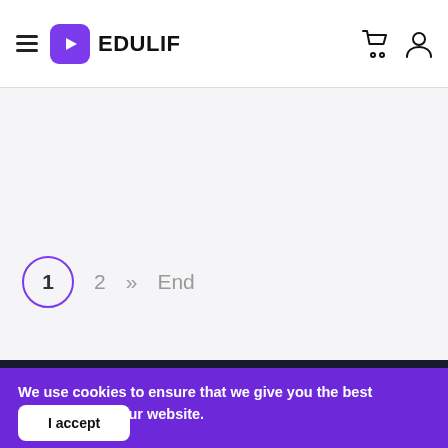EDULIF
its, Miami to Open Science Museum
1  2  »  End
We use cookies to ensure that we give you the best experience on our website.
I accept